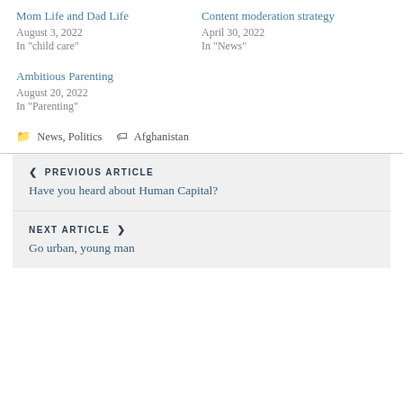Mom Life and Dad Life
August 3, 2022
In "child care"
Content moderation strategy
April 30, 2022
In "News"
Ambitious Parenting
August 20, 2022
In "Parenting"
News, Politics  Afghanistan
PREVIOUS ARTICLE
Have you heard about Human Capital?
NEXT ARTICLE
Go urban, young man